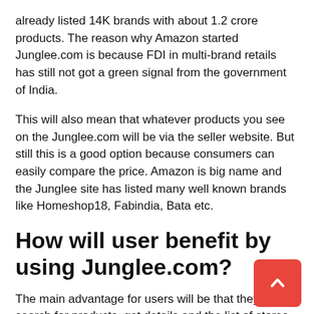already listed 14K brands with about 1.2 crore products. The reason why Amazon started Junglee.com is because FDI in multi-brand retails has still not got a green signal from the government of India.
This will also mean that whatever products you see on the Junglee.com will be via the seller website. But still this is a good option because consumers can easily compare the price. Amazon is big name and the Junglee site has listed many well known brands like Homeshop18, Fabindia, Bata etc.
How will user benefit by using Junglee.com?
The main advantage for users will be that they can search for products, get details and the list of stores